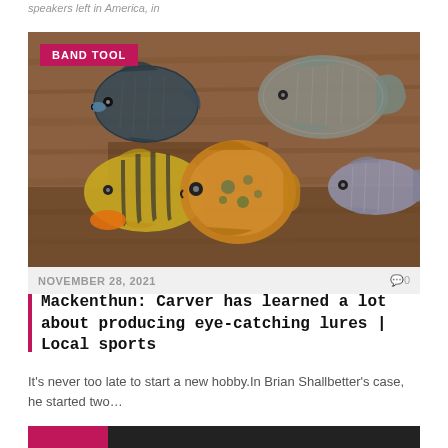speakers left in America, in
[Figure (photo): Photograph of multiple hand-carved and painted wooden fish lures arranged on a wooden surface, with a pink 'BAND TOOL' label overlay in the top-left corner.]
NOVEMBER 28, 2021   🗨 0
Mackenthun: Carver has learned a lot about producing eye-catching lures | Local sports
It's never too late to start a new hobby.In Brian Shallbetter's case, he started two…